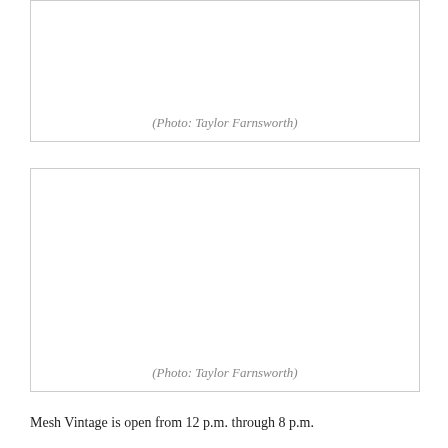[Figure (photo): Photo placeholder box with caption (Photo: Taylor Farnsworth) — top box, partially visible]
(Photo: Taylor Farnsworth)
[Figure (photo): Photo placeholder box with caption (Photo: Taylor Farnsworth) — large box]
(Photo: Taylor Farnsworth)
Mesh Vintage is open from 12 p.m. through 8 p.m.